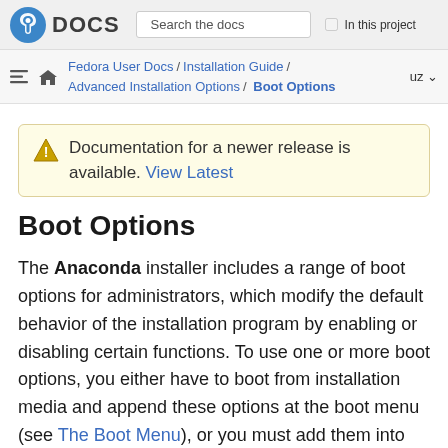Fedora DOCS — Search the docs — In this project
Fedora User Docs / Installation Guide / Advanced Installation Options / Boot Options — uz
Documentation for a newer release is available. View Latest
Boot Options
The Anaconda installer includes a range of boot options for administrators, which modify the default behavior of the installation program by enabling or disabling certain functions. To use one or more boot options, you either have to boot from installation media and append these options at the boot menu (see The Boot Menu), or you must add them into